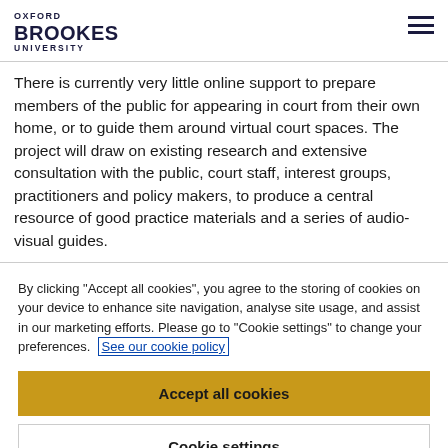OXFORD BROOKES UNIVERSITY
There is currently very little online support to prepare members of the public for appearing in court from their own home, or to guide them around virtual court spaces. The project will draw on existing research and extensive consultation with the public, court staff, interest groups, practitioners and policy makers, to produce a central resource of good practice materials and a series of audio-visual guides.
By clicking "Accept all cookies", you agree to the storing of cookies on your device to enhance site navigation, analyse site usage, and assist in our marketing efforts. Please go to "Cookie settings" to change your preferences. See our cookie policy
Accept all cookies
Cookie settings